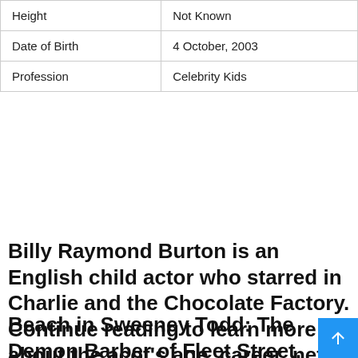| Height | Not Known |
| Date of Birth | 4 October, 2003 |
| Profession | Celebrity Kids |
Billy Raymond Burton is an English child actor who starred in Charlie and the Chocolate Factory. Continue reading to learn more about the acot's age, career, net worth, Instagram, and other details.
Beach in Sweeney Todd: The Demon Barber of Fleet Street, Dock in Alice in Wonderland Train Station in Dark